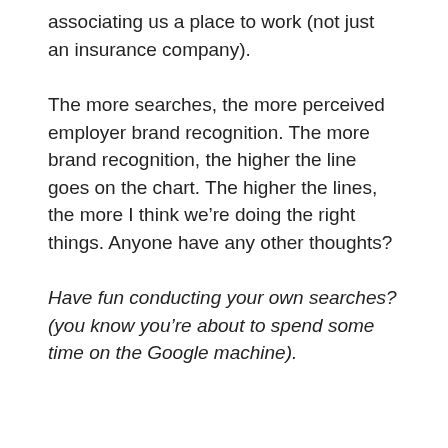associating us a place to work (not just an insurance company).
The more searches, the more perceived employer brand recognition. The more brand recognition, the higher the line goes on the chart. The higher the lines, the more I think we’re doing the right things. Anyone have any other thoughts?
Have fun conducting your own searches? (you know you’re about to spend some time on the Google machine).